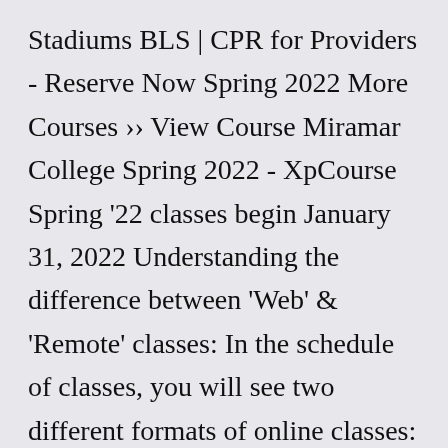Stadiums BLS | CPR for Providers - Reserve Now Spring 2022 More Courses ›› View Course Miramar College Spring 2022 - XpCourse Spring '22 classes begin January 31, 2022 Understanding the difference between 'Web' & 'Remote' classes: In the schedule of classes, you will see two different formats of online classes: Web and EMT Certification – Basic & Advanced Summer/Fall 2016 Fall 2020